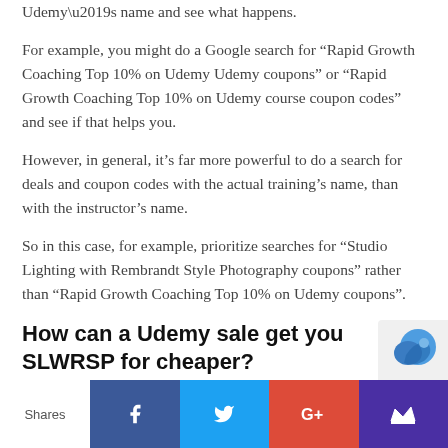Udemy’s name and see what happens.
For example, you might do a Google search for “Rapid Growth Coaching Top 10% on Udemy Udemy coupons” or “Rapid Growth Coaching Top 10% on Udemy course coupon codes” and see if that helps you.
However, in general, it’s far more powerful to do a search for deals and coupon codes with the actual training’s name, than with the instructor’s name.
So in this case, for example, prioritize searches for “Studio Lighting with Rembrandt Style Photography coupons” rather than “Rapid Growth Coaching Top 10% on Udemy coupons”.
How can a Udemy sale get you SLWRSP for cheaper?
Shares